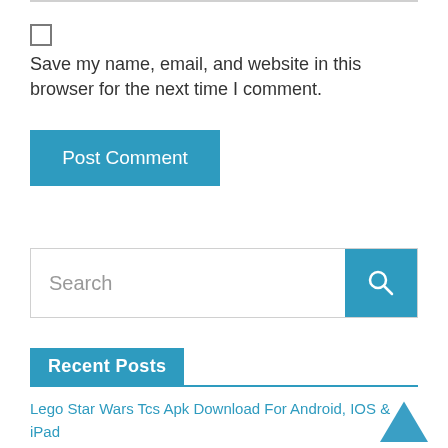Save my name, email, and website in this browser for the next time I comment.
Post Comment
Search
Recent Posts
Lego Star Wars Tcs Apk Download For Android, IOS & iPad
Vavoo Apk Download For Android, IOS, iPad Or For Pc
Fetlife Apk Android Download For Android, IOS, iPad Or For Pc